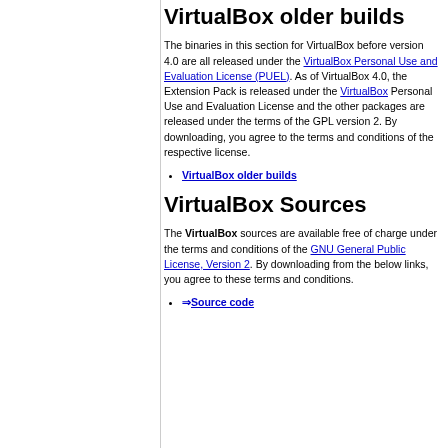VirtualBox older builds
The binaries in this section for VirtualBox before version 4.0 are all released under the VirtualBox Personal Use and Evaluation License (PUEL). As of VirtualBox 4.0, the Extension Pack is released under the VirtualBox Personal Use and Evaluation License and the other packages are released under the terms of the GPL version 2. By downloading, you agree to the terms and conditions of the respective license.
VirtualBox older builds
VirtualBox Sources
The VirtualBox sources are available free of charge under the terms and conditions of the GNU General Public License, Version 2. By downloading from the below links, you agree to these terms and conditions.
Source code